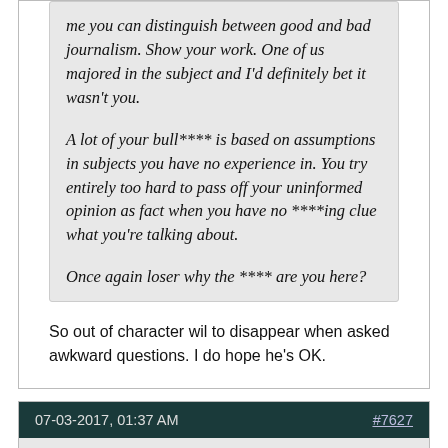me you can distinguish between good and bad journalism. Show your work. One of us majored in the subject and I'd definitely bet it wasn't you.

A lot of your bull**** is based on assumptions in subjects you have no experience in. You try entirely too hard to pass off your uninformed opinion as fact when you have no ****ing clue what you're talking about.

Once again loser why the **** are you here?
So out of character wil to disappear when asked awkward questions. I do hope he's OK.
07-03-2017, 01:37 AM
#7627
DoOrDoNot
old hand
Quote:
Originally Posted by spanktehbadwookie